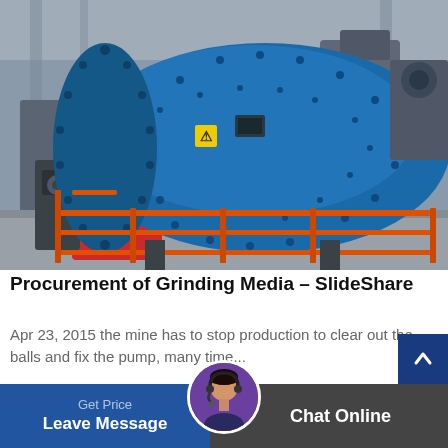[Figure (photo): Industrial ball mill / grinding mill machine with large blue cylindrical drum, red housing/motor area on the left, orange safety railing, inside a factory/industrial building.]
Procurement of Grinding Media – SlideShare
Apr 23, 2015 the mine has to stop production to clear out the balls and fix the pump, many time...
Get Price  Leave Message  Chat Online